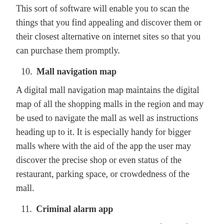This sort of software will enable you to scan the things that you find appealing and discover them or their closest alternative on internet sites so that you can purchase them promptly.
10. Mall navigation map
A digital mall navigation map maintains the digital map of all the shopping malls in the region and may be used to navigate the mall as well as instructions heading up to it. It is especially handy for bigger malls where with the aid of the app the user may discover the precise shop or even status of the restaurant, parking space, or crowdedness of the mall.
11. Criminal alarm app
Seeing a missing person or a suspected felons' face